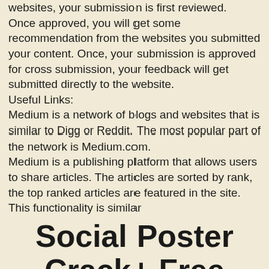websites, your submission is first reviewed. Once approved, you will get some recommendation from the websites you submitted your content. Once, your submission is approved for cross submission, your feedback will get submitted directly to the website. Useful Links: Medium is a network of blogs and websites that is similar to Digg or Reddit. The most popular part of the network is Medium.com. Medium is a publishing platform that allows users to share articles. The articles are sorted by rank, the top ranked articles are featured in the site. This functionality is similar
Social Poster Crack+ Free [Updated]
Social Poster is a software that will make content submission to social and bookmarking websites easy. Any webmaster with just a little experience knows that